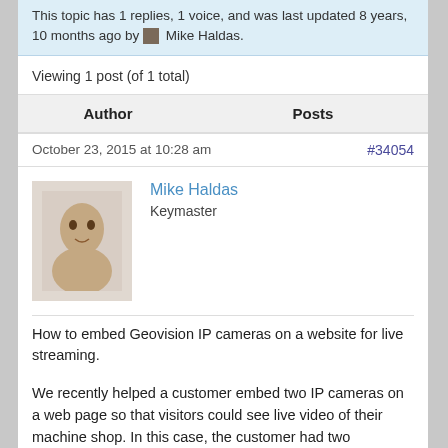This topic has 1 replies, 1 voice, and was last updated 8 years, 10 months ago by Mike Haldas.
Viewing 1 post (of 1 total)
| Author | Posts |
| --- | --- |
October 23, 2015 at 10:28 am
#34054
Mike Haldas
Keymaster
How to embed Geovision IP cameras on a website for live streaming.
We recently helped a customer embed two IP cameras on a web page so that visitors could see live video of their machine shop. In this case, the customer had two Geovision IP cameras connected to a Geovision PC based DVR, but this implementation also works for analog CCTV cameras connected to a Geovision DVR card. This is